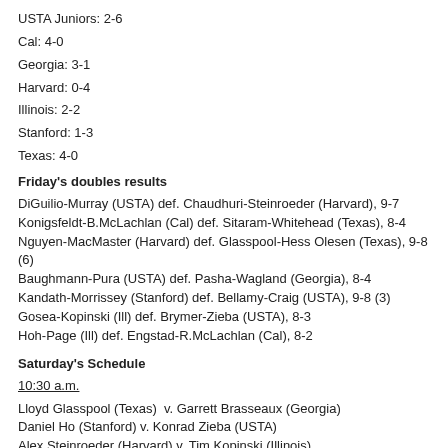USTA Juniors: 2-6
Cal: 4-0
Georgia: 3-1
Harvard: 0-4
Illinois: 2-2
Stanford: 1-3
Texas: 4-0
Friday's doubles results
DiGuilio-Murray (USTA) def. Chaudhuri-Steinroeder (Harvard), 9-7
Konigsfeldt-B.McLachlan (Cal) def. Sitaram-Whitehead (Texas), 8-4
Nguyen-MacMaster (Harvard) def. Glasspool-Hess Olesen (Texas), 9-8 (6)
Baughmann-Pura (USTA) def. Pasha-Wagland (Georgia), 8-4
Kandath-Morrissey (Stanford) def. Bellamy-Craig (USTA), 9-8 (3)
Gosea-Kopinski (Ill) def. Brymer-Zieba (USTA), 8-3
Hoh-Page (Ill) def. Engstad-R.McLachlan (Cal), 8-2
Saturday's Schedule
10:30 a.m.
Lloyd Glasspool (Texas)  v. Garrett Brasseaux (Georgia)
Daniel Ho (Stanford) v. Konrad Zieba (USTA)
Alex Steinroeder (Harvard) v. Tim Kopinski (Illinois)
Sudawa Sitaram (Texas) v. Joseph DiGuilio (USTA)
Chris Konigsfeldt (Cal) v. Daniel Whitehead (Texas)
11:30 a.m.
Gage Brymer (USTA) v. John Morrissey (Stanford)
Ben Wagland (Georgia) v. Robbie Bellamy (USTA)
Noon